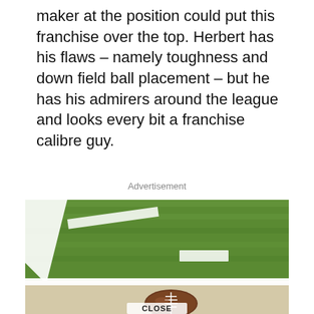maker at the position could put this franchise over the top. Herbert has his flaws – namely toughness and down field ball placement – but he has his admirers around the league and looks every bit a franchise calibre guy.
Advertisement
[Figure (photo): A football resting on the white boundary line of a football field with green grass and white yard line markings visible, with a CLOSE button overlay at the bottom.]